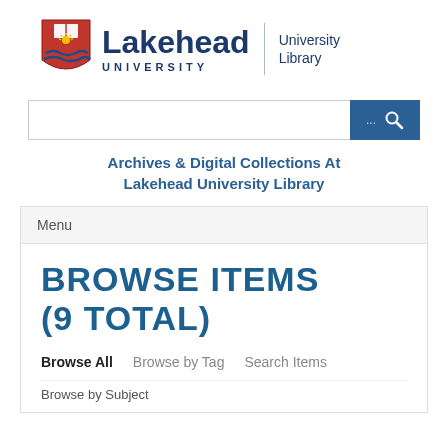[Figure (logo): Lakehead University Library logo with shield crest and wordmark]
[Figure (screenshot): Search bar with text input and blue search button with ellipsis and magnifier icon]
Archives & Digital Collections At Lakehead University Library
Menu
BROWSE ITEMS (9 TOTAL)
Browse All   Browse by Tag   Search Items
Browse by Subject